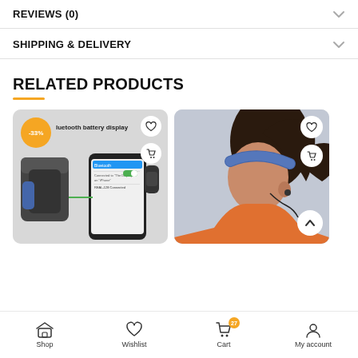REVIEWS (0)
SHIPPING & DELIVERY
RELATED PRODUCTS
[Figure (photo): Product image of wireless headphones with Bluetooth battery display and phone pairing screen, with -33% discount badge]
[Figure (photo): Woman wearing earphones and a headband, in an orange jacket, sporting look]
Shop  Wishlist  Cart (27)  My account